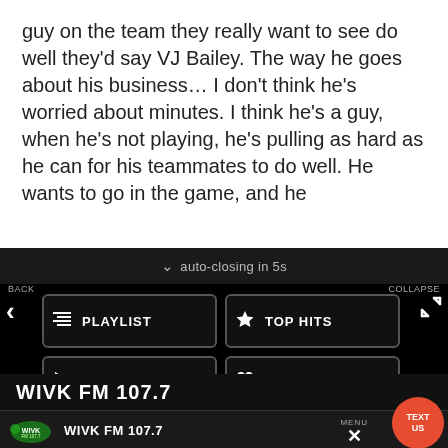guy on the team they really want to see do well they'd say VJ Bailey. The way he goes about his business... I don't think he's worried about minutes. I think he's a guy, when he's not playing, he's pulling as hard as he can for his teammates to do well. He wants to go in the game, and he
auto-closing in 5s
BACK
COLLAPSE
PLAYLIST
TOP HITS
LISTEN LIVE
MY VOTES
CONTROLS
Data opt-out
WIVK FM 107.7
WIVK FM 107.7
MENU
TEXT US